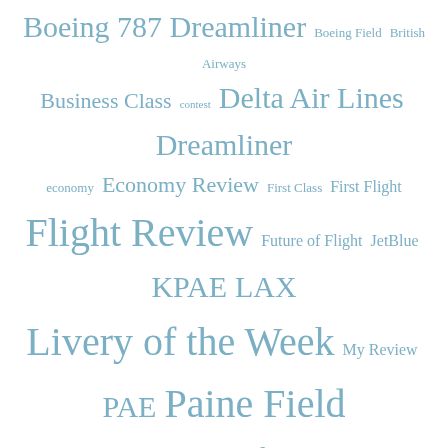[Figure (infographic): Tag cloud with aviation/travel related terms in varying sizes, all in a slate-blue color. Terms include: Boeing 787 Dreamliner, Boeing Field, British Airways, Business Class, contest, Delta Air Lines, Dreamliner, economy, Economy Review, First Class, First Flight, Flight Review, Future of Flight, JetBlue, KPAE, LAX, Livery of the Week, My Review, PAE, Paine Field, Photos, Qatar Airways, Ryanair, Safety, SEA, Seattle, Seattle-Tacoma International Airport, Southwest Airlines, TSA, United, United Airlines, Video, Virgin America]
RECENT COMMENTS:
best online casino australia on Finnair adds Seattle to North America destinations; 8th new international at SEA since 2020
Amazing! Its actually awesome article, I have got much clear